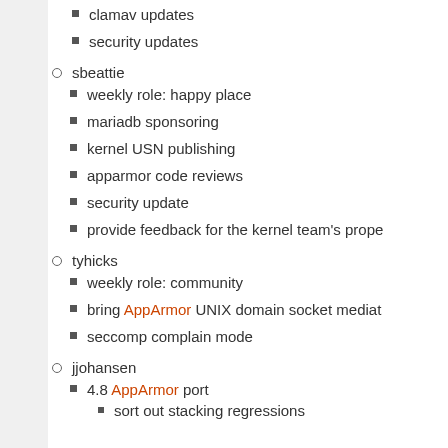clamav updates
security updates
sbeattie
weekly role: happy place
mariadb sponsoring
kernel USN publishing
apparmor code reviews
security update
provide feedback for the kernel team's prope
tyhicks
weekly role: community
bring AppArmor UNIX domain socket mediat
seccomp complain mode
jjohansen
4.8 AppArmor port
sort out stacking regressions